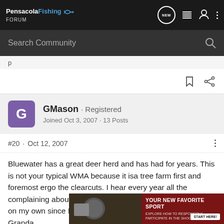PensacolaFishing FORUM — navigation bar
Search Community
p (partial text)
GMason · Registered
Joined Oct 3, 2007 · 13 Posts
#20 · Oct 12, 2007
Bluewater has a great deer herd and has had for years. This is not your typical WMA because it isa tree farm first and foremost ergo the clearcuts. I hear every year all the complaining about no trees to climb. I've hunted this place on my own since I was old enou... ...d and Granda... ...othin'. I admit it'... ...ng and
[Figure (screenshot): Advertisement overlay: YOUR NEW FAVORITE SPORT — EXPLORE HOW TO RESPONSIBLY PARTICIPATE IN THE SHOOTING SPORTS. START HERE!]